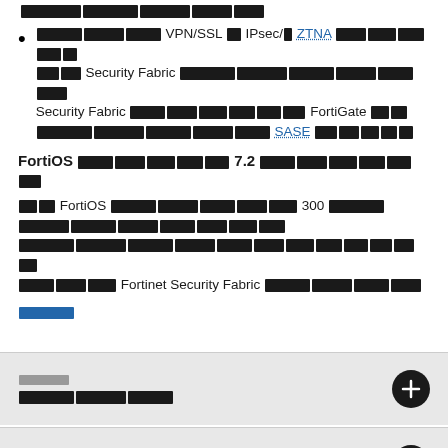[redacted] VPN/SSL [redacted] IPsec/ ZTNA [redacted] Security Fabric [redacted] Security Fabric [redacted] FortiGate [redacted] SASE [redacted]
FortiOS [redacted] 7.2 [redacted]
[redacted] FortiOS [redacted] 300 [redacted] Fortinet Security Fabric [redacted]
[redacted link]
[accordion label redacted]
[redacted] accordion title [redacted]
[accordion label redacted]
[redacted] accordion title [redacted]